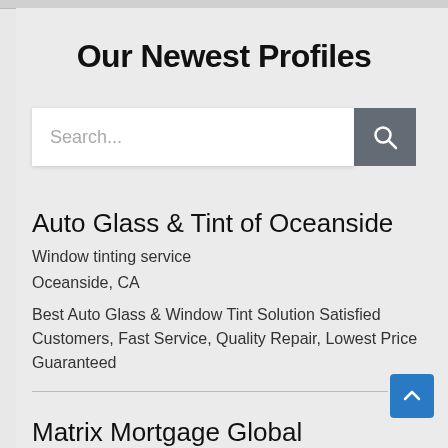Our Newest Profiles
[Figure (screenshot): Search input box with placeholder text 'Search...' and a dark gray search button with a magnifying glass icon]
Auto Glass & Tint of Oceanside
Window tinting service
Oceanside, CA
Best Auto Glass & Window Tint Solution Satisfied Customers, Fast Service, Quality Repair, Lowest Price Guaranteed
Matrix Mortgage Global